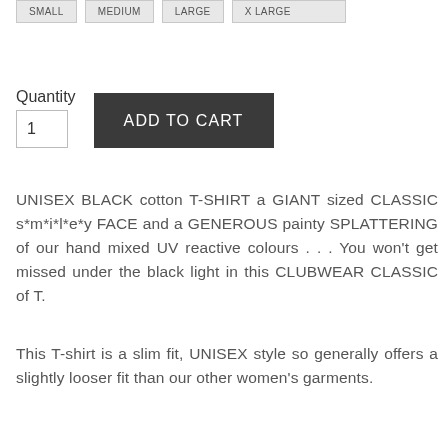SMALL
MEDIUM
LARGE
X LARGE
Quantity
1
ADD TO CART
UNISEX BLACK cotton T-SHIRT a GIANT sized CLASSIC s*m*i*l*e*y FACE and a GENEROUS painty SPLATTERING of our hand mixed UV reactive colours . . . You won't get missed under the black light in this CLUBWEAR CLASSIC of T.
This T-shirt is a slim fit, UNISEX style so generally offers a slightly looser fit than our other women's garments.